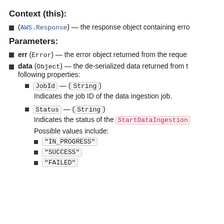Context (this):
(AWS.Response) — the response object containing erro
Parameters:
err (Error) — the error object returned from the reque
data (Object) — the de-serialized data returned from the following properties:
JobId — (String)
Indicates the job ID of the data ingestion job.
Status — (String)
Indicates the status of the StartDataIngestion
Possible values include:
"IN_PROGRESS"
"SUCCESS"
"FAILED"